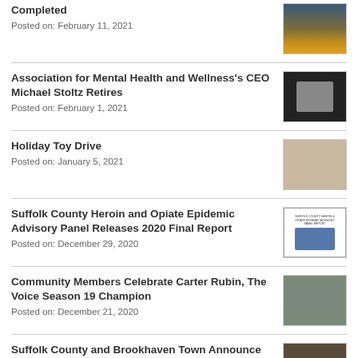Completed
Posted on: February 11, 2021
[Figure (photo): Sunset over water photo]
Association for Mental Health and Wellness's CEO Michael Stoltz Retires
Posted on: February 1, 2021
[Figure (photo): Video call meeting screenshot]
Holiday Toy Drive
Posted on: January 5, 2021
[Figure (photo): Holiday toy drive photo with toys]
Suffolk County Heroin and Opiate Epidemic Advisory Panel Releases 2020 Final Report
Posted on: December 29, 2020
[Figure (photo): Report cover image]
Community Members Celebrate Carter Rubin, The Voice Season 19 Champion
Posted on: December 21, 2020
[Figure (photo): Community members photo]
Suffolk County and Brookhaven Town Announce